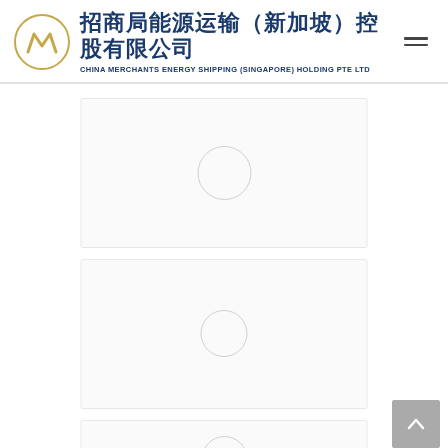招商局能源运输（新加坡）控股有限公司 CHINA MERCHANTS ENERGY SHIPPING (SINGAPORE) HOLDING PTE LTD
[Figure (other): Three placeholder content cards with circle loader icons, stacked vertically in the center of the page, indicating loading content]